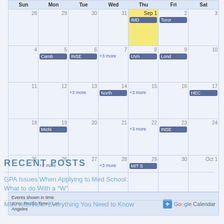[Figure (other): Google Calendar widget showing September with events like IMD, Toronto, Camb, INSE, UVA, London, North, HEC, Michi, MIT S and more links]
RECENT POSTS
GPA Issues When Applying to Med School: What to do With a “W”
MMI Interview: Everything You Need to Know